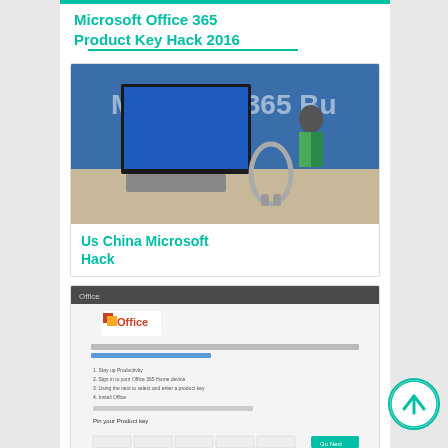Microsoft Office 365 Product Key Hack 2016
[Figure (photo): Microsoft 365 Business display in a store with a large monitor, keyboard, headphones, and a blue Microsoft 365 Business banner in the background]
Us China Microsoft Hack
[Figure (screenshot): Screenshot of a Microsoft Office product key activation page from cracknapp.com]
Microsoft Office 365